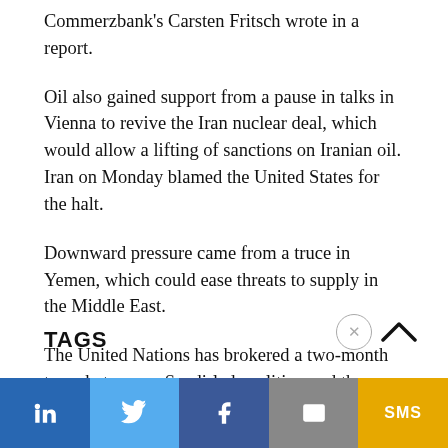Commerzbank's Carsten Fritsch wrote in a report.
Oil also gained support from a pause in talks in Vienna to revive the Iran nuclear deal, which would allow a lifting of sanctions on Iranian oil. Iran on Monday blamed the United States for the halt.
Downward pressure came from a truce in Yemen, which could ease threats to supply in the Middle East.
The United Nations has brokered a two-month truce between a Saudi-led coalition and the Houthi group aligned with Iran for the first time in the seven-year conflict. Saudi oil facilities have come under Houthi attack during the fighting.
TAGS
in | Twitter | f | Email | SMS